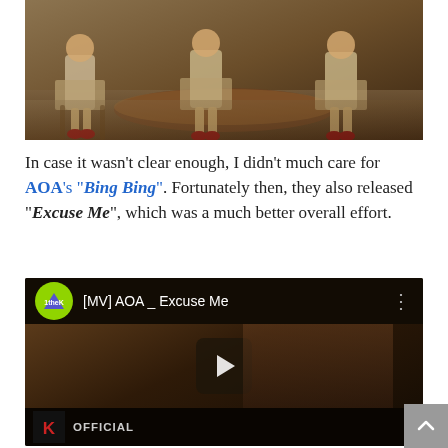[Figure (photo): Photo of several young women in beige/cream outfits seated around a round wooden table in a vintage-styled room setting]
In case it wasn't clear enough, I didn't much care for AOA's "Bing Bing". Fortunately then, they also released "Excuse Me", which was a much better overall effort.
[Figure (screenshot): Embedded YouTube video thumbnail showing [MV] AOA _ Excuse Me, with 1theK logo, a young woman with brown hair, and a play button overlay. Includes K OFFICIAL branding at the bottom.]